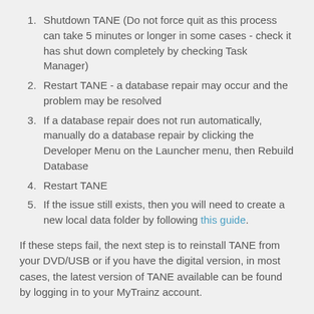Shutdown TANE (Do not force quit as this process can take 5 minutes or longer in some cases - check it has shut down completely by checking Task Manager)
Restart TANE - a database repair may occur and the problem may be resolved
If a database repair does not run automatically, manually do a database repair by clicking the Developer Menu on the Launcher menu, then Rebuild Database
Restart TANE
If the issue still exists, then you will need to create a new local data folder by following this guide.
If these steps fail, the next step is to reinstall TANE from your DVD/USB or if you have the digital version, in most cases, the latest version of TANE available can be found by logging in to your MyTrainz account.